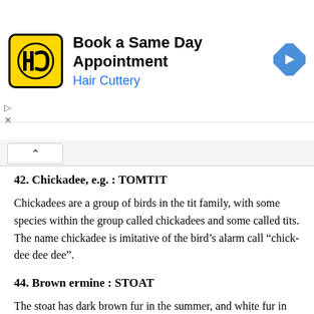[Figure (screenshot): Hair Cuttery advertisement banner with yellow logo, text 'Book a Same Day Appointment / Hair Cuttery', and blue navigation arrow icon]
42. Chickadee, e.g. : TOMTIT
Chickadees are a group of birds in the tit family, with some species within the group called chickadees and some called tits. The name chickadee is imitative of the bird's alarm call “chick-dee dee dee”.
44. Brown ermine : STOAT
The stoat has dark brown fur in the summer, and white fur in the winter. Sometimes the term “ermine” is used for the animal during the winter